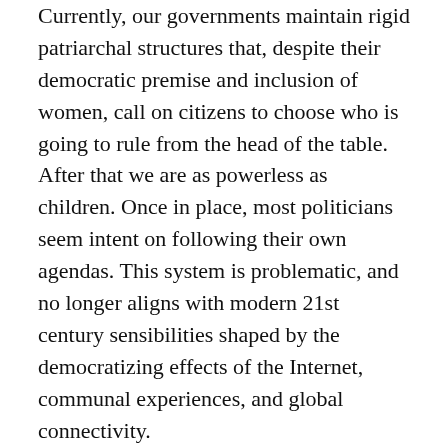Currently, our governments maintain rigid patriarchal structures that, despite their democratic premise and inclusion of women, call on citizens to choose who is going to rule from the head of the table. After that we are as powerless as children. Once in place, most politicians seem intent on following their own agendas. This system is problematic, and no longer aligns with modern 21st century sensibilities shaped by the democratizing effects of the Internet, communal experiences, and global connectivity.
“…Guelph has demonstrated that cities can innovate. Through its fresh approach to problem-solving and open-government principles, Guelph is challenging the traditional